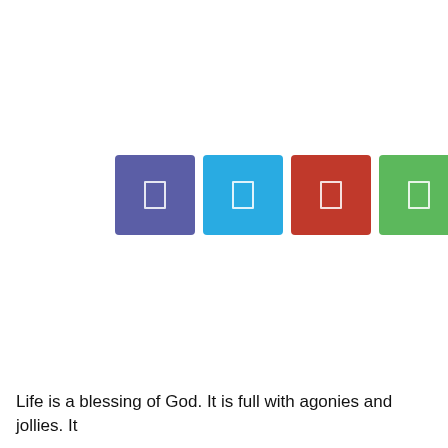[Figure (infographic): Five colored square icon buttons in a row: purple, cyan, red, green, and white/outline. Each contains a small rectangular icon symbol in the center.]
Life is a blessing of God. It is full with agonies and jollies. It